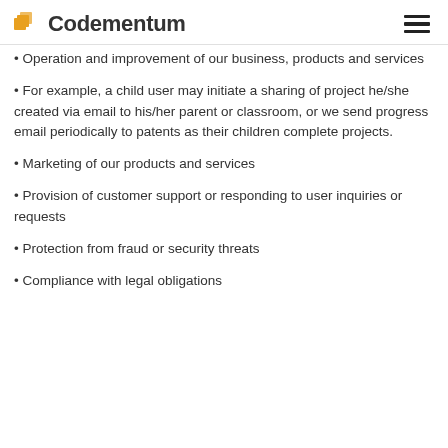Codementum
Operation and improvement of our business, products and services
For example, a child user may initiate a sharing of project he/she created via email to his/her parent or classroom, or we send progress email periodically to patents as their children complete projects.
Marketing of our products and services
Provision of customer support or responding to user inquiries or requests
Protection from fraud or security threats
Compliance with legal obligations